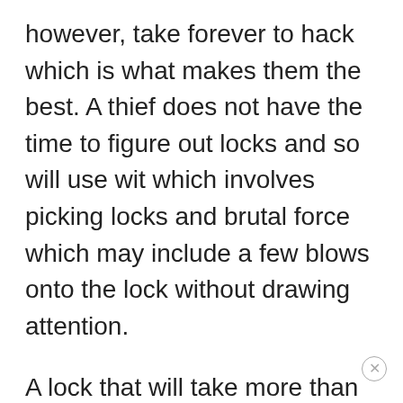however, take forever to hack which is what makes them the best. A thief does not have the time to figure out locks and so will use wit which involves picking locks and brutal force which may include a few blows onto the lock without drawing attention.
A lock that will take more than the needed blows to break will be left alone. One that takes forever to pick will also be avoided, and this is what makes these locks worth having. Here is our list of the best U Locks for bikes.